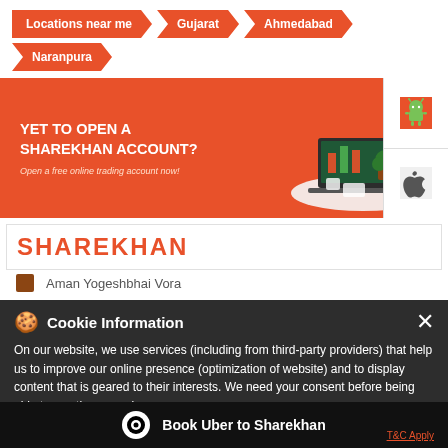Locations near me > Gujarat > Ahmedabad > Naranpura
[Figure (illustration): Sharekhan promotional banner: orange background with text 'YET TO OPEN A SHAREKHAN ACCOUNT?' and 'Open a free online trading account now!' with a laptop/desk illustration and Android/iOS app icons]
SHAREKHAN
Aman Yogeshbhai Vora
On our website, we use services (including from third-party providers) that help us to improve our online presence (optimization of website) and to display content that is geared to their interests. We need your consent before being able to use these services.
Near St Xavier Loyela Hall
Book Uber to Sharekhan   T&C Apply